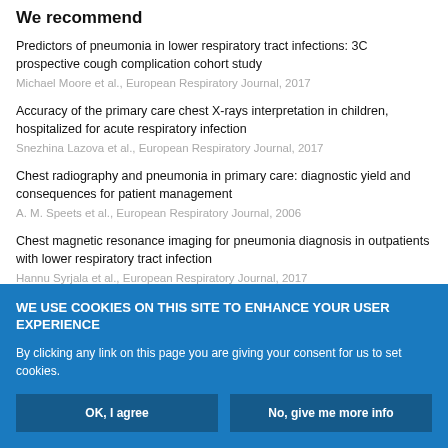We recommend
Predictors of pneumonia in lower respiratory tract infections: 3C prospective cough complication cohort study
Michael Moore et al., European Respiratory Journal, 2017
Accuracy of the primary care chest X-rays interpretation in children, hospitalized for acute respiratory infection
Snezhina Lazova et al., European Respiratory Journal, 2017
Chest radiography and pneumonia in primary care: diagnostic yield and consequences for patient management
A. M. Speets et al., European Respiratory Journal, 2006
Chest magnetic resonance imaging for pneumonia diagnosis in outpatients with lower respiratory tract infection
Hannu Syrjala et al., European Respiratory Journal, 2017
WE USE COOKIES ON THIS SITE TO ENHANCE YOUR USER EXPERIENCE
By clicking any link on this page you are giving your consent for us to set cookies.
OK, I agree | No, give me more info